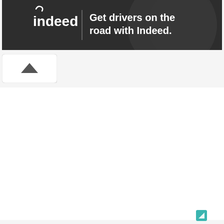[Figure (screenshot): Indeed advertisement banner with dark background showing Indeed logo on the left and tagline 'Get drivers on the road with Indeed.' on the right]
[Figure (other): Collapse/scroll-up button with upward chevron arrow on white rounded rectangular background]
[Figure (other): Small teal/green icon in bottom right area of the page]